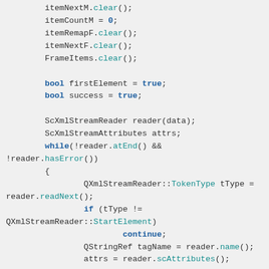Code snippet showing C++ XML stream reader parsing logic with itemNextM.clear(), itemCountM, itemRemapF.clear(), itemNextF.clear(), FrameItems.clear(), bool declarations, ScXmlStreamReader, ScXmlStreamAttributes, while loop with reader.atEnd() and reader.hasError(), QXmlStreamReader::TokenType, reader.readNext(), if tType != QXmlStreamReader::StartElement continue, QStringRef tagName, attrs = reader.scAttributes(), if firstElement block with tagName == SCRIBUSELEM or SCRIBUSELEMUTF8 check